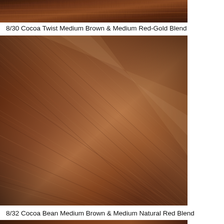[Figure (photo): Close-up photo of hair color swatch showing a brown and red-gold blend, top portion cropped]
8/30 Cocoa Twist Medium Brown & Medium Red-Gold Blend
[Figure (photo): Close-up photo of hair color swatch showing medium brown and medium red-gold blend, large swatch]
8/32 Cocoa Bean Medium Brown & Medium Natural Red Blend
[Figure (photo): Close-up photo of hair color swatch showing medium brown and medium natural red blend, bottom portion cropped]